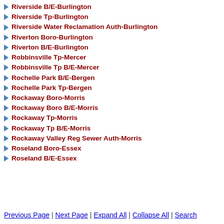Riverside B/E-Burlington
Riverside Tp-Burlington
Riverside Water Reclamation Auth-Burlington
Riverton Boro-Burlington
Riverton B/E-Burlington
Robbinsville Tp-Mercer
Robbinsville Tp B/E-Mercer
Rochelle Park B/E-Bergen
Rochelle Park Tp-Bergen
Rockaway Boro-Morris
Rockaway Boro B/E-Morris
Rockaway Tp-Morris
Rockaway Tp B/E-Morris
Rockaway Valley Reg Sewer Auth-Morris
Roseland Boro-Essex
Roseland B/E-Essex
Previous Page | Next Page | Expand All | Collapse All | Search